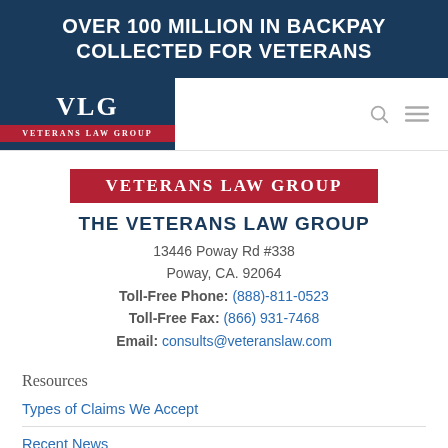OVER 100 MILLION IN BACKPAY COLLECTED FOR VETERANS
[Figure (logo): Veterans Law Group logo with VLG text and red banner]
[Figure (logo): Veterans Law Group red banner logo]
THE VETERANS LAW GROUP
13446 Poway Rd #338
Poway, CA. 92064
Toll-Free Phone: (888)-811-0523
Toll-Free Fax: (866) 931-7468
Email: consults@veteranslaw.com
Resources
Types of Claims We Accept
Recent News
Veteran's Law Group Glossary of Terms
Testimonials